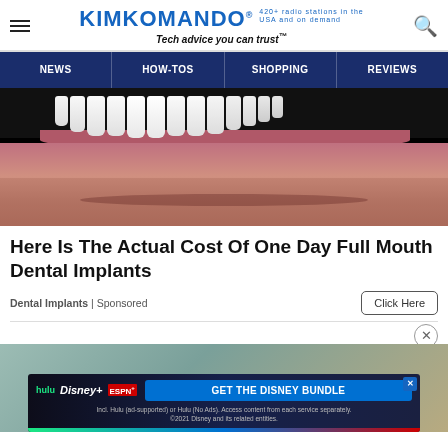KIMKOMANDO® 420+ radio stations in the USA and on demand | Tech advice you can trust™
NEWS | HOW-TOS | SHOPPING | REVIEWS
[Figure (photo): Close-up photo of a person smiling showing full mouth of white teeth and gums, lower face visible with stubble]
Here Is The Actual Cost Of One Day Full Mouth Dental Implants
Dental Implants | Sponsored
Click Here
[Figure (screenshot): Disney bundle advertisement showing Hulu, Disney+, ESPN+ logos and 'GET THE DISNEY BUNDLE' call to action with fine print: Incl. Hulu (ad-supported) or Hulu (No Ads). Access content from each service separately. ©2021 Disney and its related entities.]